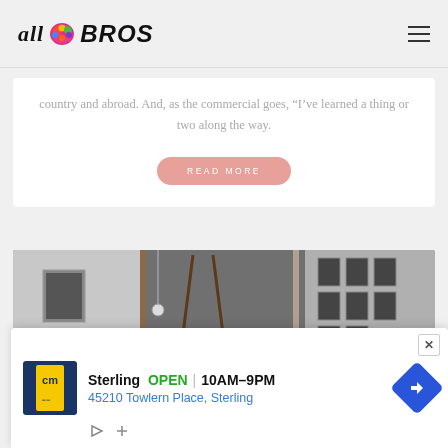all BROS
country and abroad. And, as the commercial goes, “I’ve learned a thing or two along the way.
READ MORE
[Figure (photo): Interior photo of an art studio or gallery space, showing walls with framed artworks and photographs, easels, and lighting equipment. The photo appears tilted.]
[Figure (infographic): Advertisement banner: CM logo (yellow on dark blue), Sterling OPEN | 10AM-9PM, 45210 Towlern Place, Sterling, with a blue navigation arrow icon and play/close icons at the bottom.]